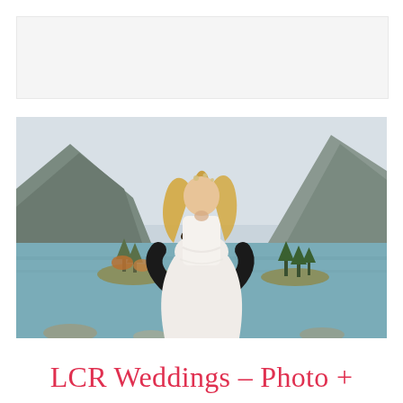[Figure (photo): Top banner placeholder image - light gray rectangle]
[Figure (photo): Wedding couple photo: groom in black suit lifting bride in white lace dress, they touch foreheads, set against a mountain lake with small forested islands and mountains in the background under a cloudy sky]
LCR Weddings – Photo +